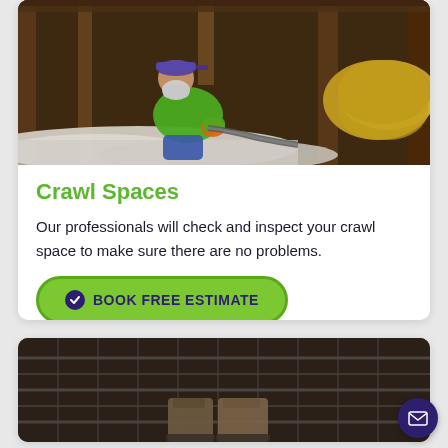[Figure (photo): Worker in green shirt wearing a respirator mask and purple cap, kneeling in a crawl space or attic area with white insulation material, yellow duct insulation visible]
Crawl Spaces
Our professionals will check and inspect your crawl space to make sure there are no problems.
BOOK FREE ESTIMATE
[Figure (photo): Bottom portion of a crawl space with metal grid/rebar structure visible, boots of a person standing in the space, dark industrial setting]